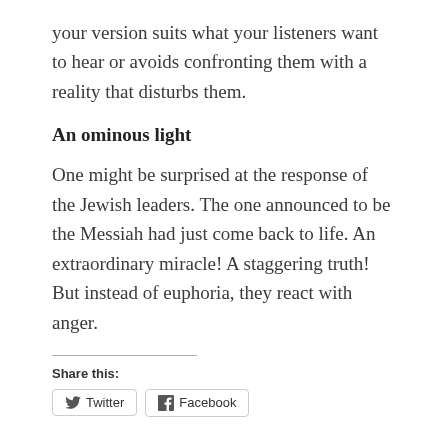your version suits what your listeners want to hear or avoids confronting them with a reality that disturbs them.
An ominous light
One might be surprised at the response of the Jewish leaders. The one announced to be the Messiah had just come back to life. An extraordinary miracle! A staggering truth! But instead of euphoria, they react with anger.
Share this:
Twitter  Facebook